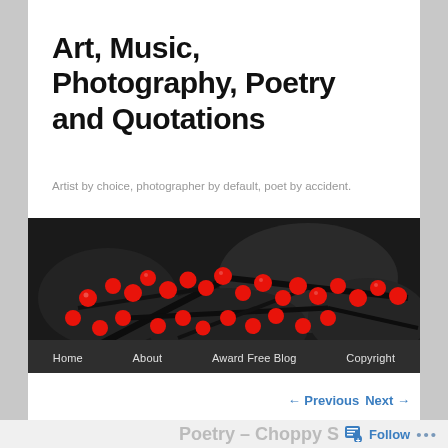Art, Music, Photography, Poetry and Quotations
Artist by choice, photographer by default, poet by accident.
[Figure (photo): Close-up photo of bright red berries on dark bare branches against a blurred black and white leaf background]
Home
About
Award Free Blog
Copyright
← Previous   Next →
Poetry – Choppy S…  Follow  ...